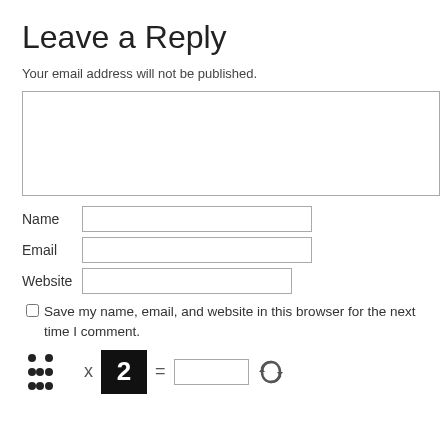Leave a Reply
Your email address will not be published.
Name [input field]
Email [input field]
Website [input field]
Save my name, email, and website in this browser for the next time I comment.
[Figure (other): CAPTCHA widget: dot grid image × black box with number 2 = input field, refresh icon]